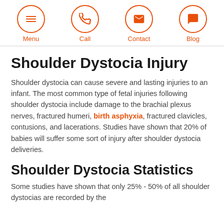Menu | Call | Contact | Blog
Shoulder Dystocia Injury
Shoulder dystocia can cause severe and lasting injuries to an infant. The most common type of fetal injuries following shoulder dystocia include damage to the brachial plexus nerves, fractured humeri, birth asphyxia, fractured clavicles, contusions, and lacerations. Studies have shown that 20% of babies will suffer some sort of injury after shoulder dystocia deliveries.
Shoulder Dystocia Statistics
Some studies have shown that only 25% - 50% of all shoulder dystocias are recorded by the